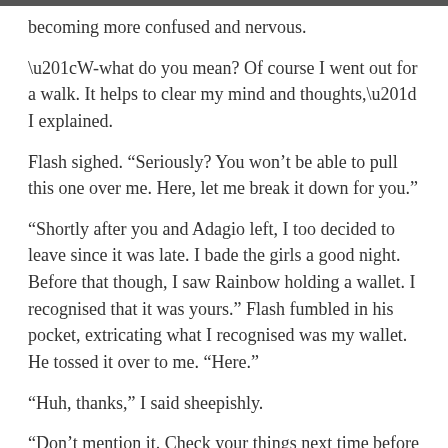becoming more confused and nervous.
“W-what do you mean? Of course I went out for a walk. It helps to clear my mind and thoughts,” I explained.
Flash sighed. “Seriously? You won’t be able to pull this one over me. Here, let me break it down for you.”
“Shortly after you and Adagio left, I too decided to leave since it was late. I bade the girls a good night. Before that though, I saw Rainbow holding a wallet. I recognised that it was yours.” Flash fumbled in his pocket, extricating what I recognised was my wallet. He tossed it over to me. “Here.”
“Huh, thanks,” I said sheepishly.
“Don’t mention it. Check your things next time before